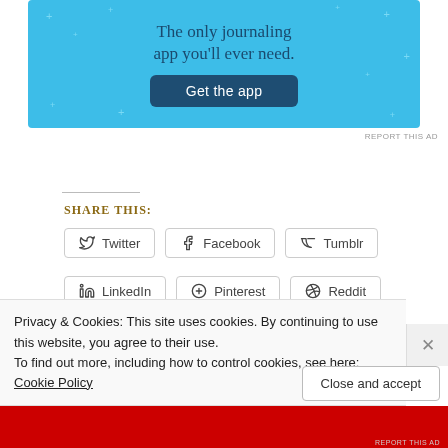[Figure (screenshot): Blue advertisement banner for a journaling app with text 'The only journaling app you'll ever need.' and a 'Get the app' button]
REPORT THIS AD
Share this:
Twitter
Facebook
Tumblr
LinkedIn
Pinterest
Reddit
Pocket
Privacy & Cookies: This site uses cookies. By continuing to use this website, you agree to their use.
To find out more, including how to control cookies, see here: Cookie Policy
Close and accept